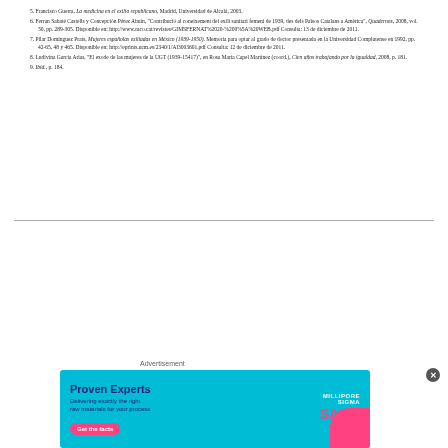5. Francisco Guerra, La medicina en el exilio republicano, Madrid, Universidad de Alcalá, 2003.
6. Ferran Sabaté Castells y Concepción Pérez Abuín, "Contribució al coneixement del exili sanitari femenì de 1939, des dels Països Catalans a Amèrica", Quadernos, 2008, vol. 30, pp. 289-305. Disponible en: http://www.raco.cat/revistes/GIMSFERNAT%2020-%200%5A%20WEB.pdf Consulta: 13 de diciembre de 2011.
7. Pilar Domínguez Prats, Mujeres españolas exiliadas en México (1939-1950). Memoria para optar al grado de doctor presentada en la Universidad Complutense en 1992, pp. 42-65, 48 y 465. Disponible en: http://eprints.ucm.es/2340/1/Al3003601.pdf Consulta: 12 de diciembre de 2011.
8. Ludivina García Arias, "El exode de las mujeres de la UGT (1939-15417)", en Rosa María Capel Martínez (coord.), Cien años trabajando por la igualdad, 2008, p. 181.
9. Ibid., p. 184.
234                                                             Duqua, mayo-agosto de 2013
Comenzaremos la exposición de estas materias a nuestras epiliadas, par